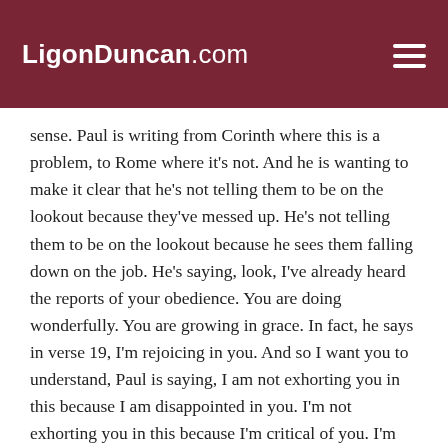LigonDuncan.com
sense. Paul is writing from Corinth where this is a problem, to Rome where it's not. And he is wanting to make it clear that he's not telling them to be on the lookout because they've messed up. He's not telling them to be on the lookout because he sees them falling down on the job. He's saying, look, I've already heard the reports of your obedience. You are doing wonderfully. You are growing in grace. In fact, he says in verse 19, I'm rejoicing in you. And so I want you to understand, Paul is saying, I am not exhorting you in this because I am disappointed in you. I'm not exhorting you in this because I'm critical of you. I'm exhorting you in this precisely because you are doing so well, and I don't want you to fall into the trap. And so, that's what I mean by saying the